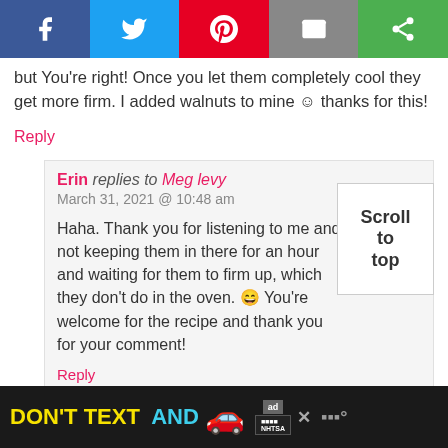[Figure (other): Social sharing bar with Facebook, Twitter, Pinterest, Email, and another share button icons]
but You're right! Once you let them completely cool they get more firm. I added walnuts to mine 😊 thanks for this!
Reply
Erin replies to Meg levy
March 31, 2021 @ 10:48 am
Haha. Thank you for listening to me and not keeping them in there for an hour and waiting for them to firm up, which they don't do in the oven. 😄 You're welcome for the recipe and thank you for your comment!
Reply
[Figure (other): Advertisement banner: DON'T TEXT AND [car emoji] with NHTSA ad badge, close button, and weather icon]
Scroll to top